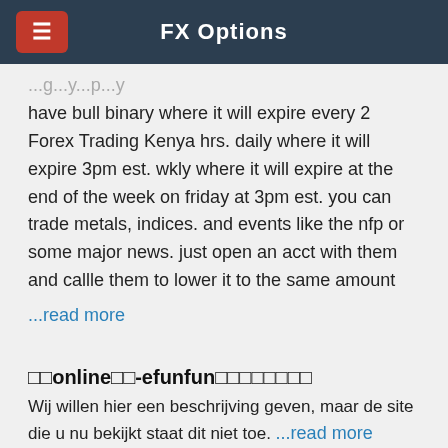FX Options
have bull binary where it will expire every 2 Forex Trading Kenya hrs. daily where it will expire 3pm est. wkly where it will expire at the end of the week on friday at 3pm est. you can trade metals, indices. and events like the nfp or some major news. just open an acct with them and callle them to lower it to the same amount
...read more
□□online□□-efunfun□□□□□□□□
Wij willen hier een beschrijving geven, maar de site die u nu bekijkt staat dit niet toe. ...read more
Common Infrared Optical Materials and